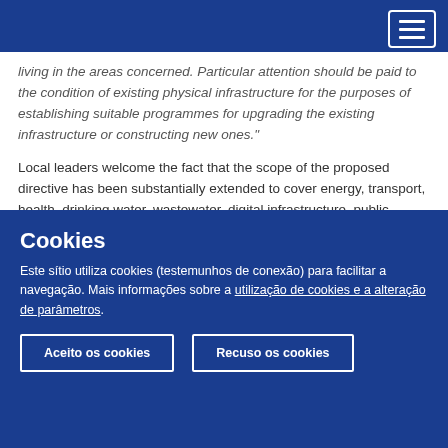living in the areas concerned. Particular attention should be paid to the condition of existing physical infrastructure for the purposes of establishing suitable programmes for upgrading the existing infrastructure or constructing new ones."
Local leaders welcome the fact that the scope of the proposed directive has been substantially extended to cover energy, transport, health, drinking water, wastewater, digital infrastructure, public administration and space. As resilience concerns all levels of governance, coordination and good multilevel cross-sector collaboration for disaster preparedness, risk reduction and reinforcing resilience is
Cookies
Este sítio utiliza cookies (testemunhos de conexão) para facilitar a navegação. Mais informações sobre a utilização de cookies e a alteração de parâmetros.